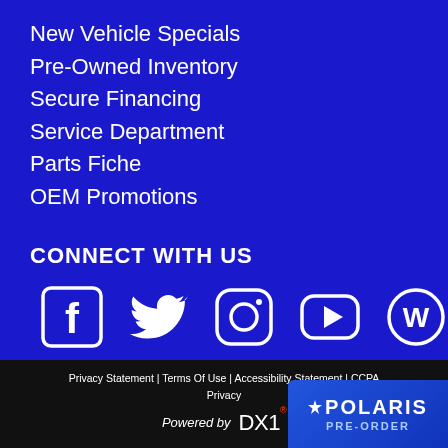New Vehicle Specials
Pre-Owned Inventory
Secure Financing
Service Department
Parts Fiche
OEM Promotions
CONNECT WITH US
[Figure (infographic): Social media icons: Facebook, Twitter, Instagram, YouTube, WordPress]
Privacy Statement | Terms Of Use | Accessibility Statement | CCPA Privacy
[Figure (logo): Powered by DX1 logo]
[Figure (logo): Polaris PRE-ORDER badge]